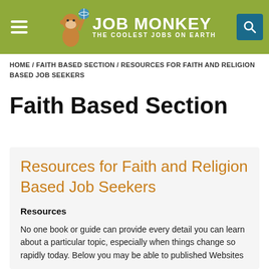JOB MONKEY – THE COOLEST JOBS ON EARTH
HOME / FAITH BASED SECTION / RESOURCES FOR FAITH AND RELIGION BASED JOB SEEKERS
Faith Based Section
Resources for Faith and Religion Based Job Seekers
Resources
No one book or guide can provide every detail you can learn about a particular topic, especially when things change so rapidly today. Below you may be able to published Websites